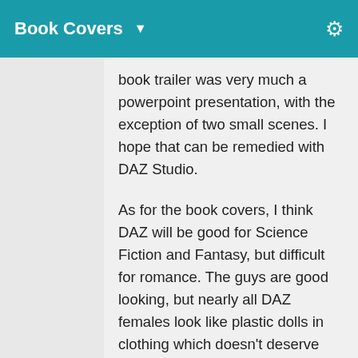Book Covers ▼
book trailer was very much a powerpoint presentation, with the exception of two small scenes. I hope that can be remedied with DAZ Studio.
As for the book covers, I think DAZ will be good for Science Fiction and Fantasy, but difficult for romance. The guys are good looking, but nearly all DAZ females look like plastic dolls in clothing which doesn't deserve that name. Mostly it shows bare skin in holes big enough to swallow a galaxy. That will work for erotic, not so much for romance.